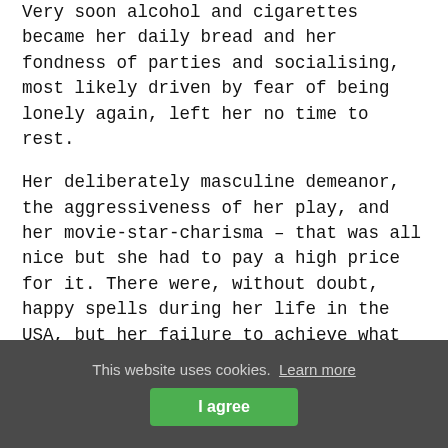Very soon alcohol and cigarettes became her daily bread and her fondness of parties and socialising, most likely driven by fear of being lonely again, left her no time to rest.
Her deliberately masculine demeanor, the aggressiveness of her play, and her movie-star-charisma – that was all nice but she had to pay a high price for it. There were, without doubt, happy spells during her life in the USA, but her failure to achieve what she wanted the most – to gain the title of the women's chess champion – caused her a lot of pain.
Credits:
First and foremost I must mention Alfred Schattmann
This website uses cookies. Learn more I agree